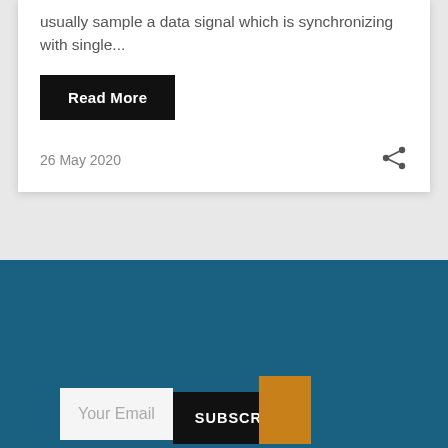usually sample a data signal which is synchronizing with single...
Read More
26 May 2020
[Figure (illustration): Share icon (network share symbol) in dark gray]
[Figure (illustration): Dark teal/blue footer background section with subscribe form]
Your Email
SUBSCRIBE